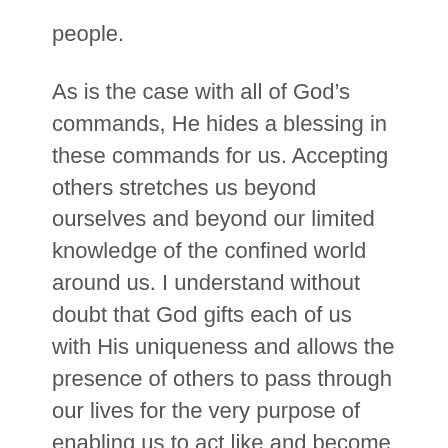people.
As is the case with all of God’s commands, He hides a blessing in these commands for us. Accepting others stretches us beyond ourselves and beyond our limited knowledge of the confined world around us. I understand without doubt that God gifts each of us with His uniqueness and allows the presence of others to pass through our lives for the very purpose of enabling us to act like and become more like Christ. Standing firm on biblical principles, practicing unfeigned love of God, and demonstrating love for God’s people—these set Christianity and Christians apart.
In addition, opening oneself up to diverse relationships provides limitless opportunities for us